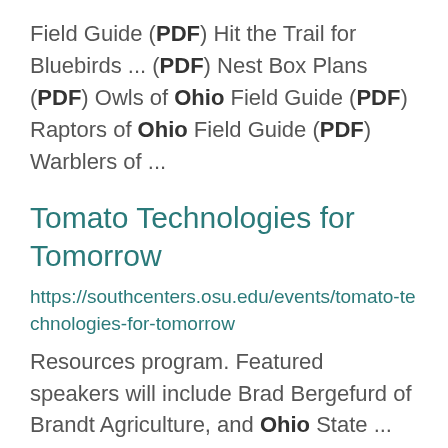Field Guide (PDF) Hit the Trail for Bluebirds ... (PDF) Nest Box Plans (PDF) Owls of Ohio Field Guide (PDF) Raptors of Ohio Field Guide (PDF) Warblers of ...
Tomato Technologies for Tomorrow
https://southcenters.osu.edu/events/tomato-technologies-for-tomorrow
Resources program. Featured speakers will include Brad Bergefurd of Brandt Agriculture, and Ohio State ... trials This event will be held in person at The Ohio State University South Centers in Piketon, Ohio